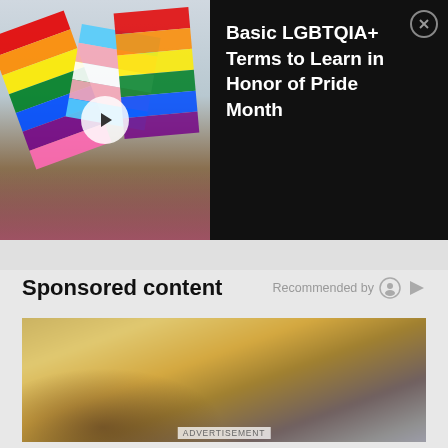[Figure (screenshot): Video thumbnail showing people holding rainbow and transgender pride flags outdoors]
Basic LGBTQIA+ Terms to Learn in Honor of Pride Month
Sponsored content
Recommended by
[Figure (photo): Blurred photo of a blonde woman, sponsored content advertisement]
ADVERTISEMENT